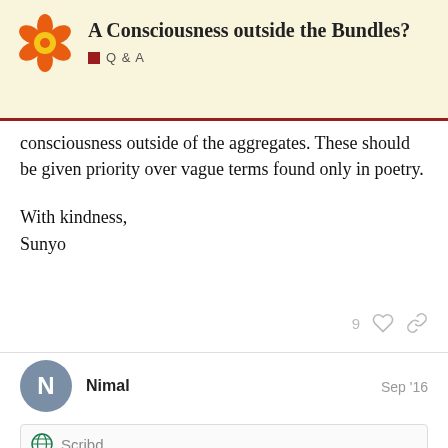A Consciousness outside the Bundles? Q&A
consciousness outside of the aggregates. These should be given priority over vague terms found only in poetry.
With kindness,
Sunyo
Nimal Sep '16
[Figure (screenshot): Scribd embedded link card showing 'What the Nikayas Say a... Nibbana | Nirvana Philosophical Conc...' with a document thumbnail. A blue 'Back' button overlay and page counter '9/30' are visible.]